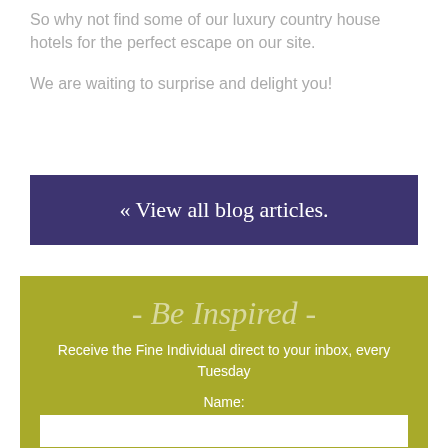So why not find some of our luxury country house hotels for the perfect escape on our site.
We are waiting to surprise and delight you!
« View all blog articles.
- Be Inspired -
Receive the Fine Individual direct to your inbox, every Tuesday
Name:
Email: